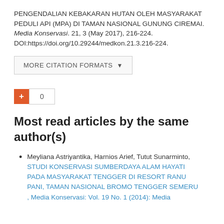PENGENDALIAN KEBAKARAN HUTAN OLEH MASYARAKAT PEDULI API (MPA) DI TAMAN NASIONAL GUNUNG CIREMAI. Media Konservasi. 21, 3 (May 2017), 216-224. DOI:https://doi.org/10.29244/medkon.21.3.216-224.
[Figure (other): MORE CITATION FORMATS button with dropdown arrow]
[Figure (other): Plus/bookmark widget showing count 0]
Most read articles by the same author(s)
Meyliana Astriyantika, Harnios Arief, Tutut Sunarminto, STUDI KONSERVASI SUMBERDAYA ALAM HAYATI PADA MASYARAKAT TENGGER DI RESORT RANU PANI, TAMAN NASIONAL BROMO TENGGER SEMERU , Media Konservasi: Vol. 19 No. 1 (2014): Media